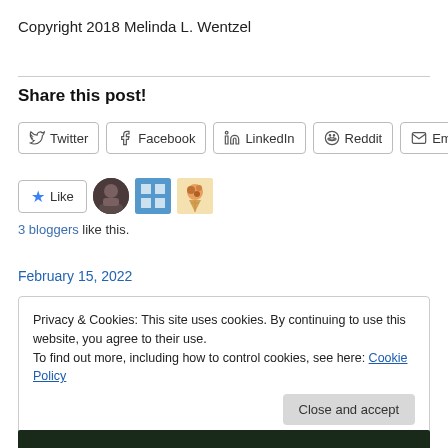Copyright 2018 Melinda L. Wentzel
Share this post!
[Figure (infographic): Row of social share buttons: Twitter, Facebook, LinkedIn, Reddit, Email]
[Figure (infographic): Like button with star icon and 3 blogger avatars (person photo, building grid icon, ice cream cone icon)]
3 bloggers like this.
February 15, 2022
Privacy & Cookies: This site uses cookies. By continuing to use this website, you agree to their use.
To find out more, including how to control cookies, see here: Cookie Policy
Close and accept